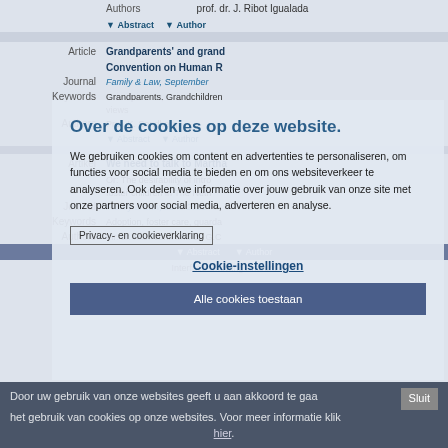[Figure (screenshot): Background website content showing academic legal article listings with columns for Article/Artikel type, title in blue bold, journal name in blue italic, Keywords, Authors, Abstract and Author buttons. Articles visible include one about Grandparents and the Convention on Human Rights in Family & Law, September issue, with Prof. K. Sandberg as author, and another titled 'We need to talk to Martha' about desirability of intro foster children in The Netherlands, in Family & Law June 2021, by mr. dr. M.J. Vonk and dr. G.C.]
Over de cookies op deze website.
We gebruiken cookies om content en advertenties te personaliseren, om functies voor social media te bieden en om ons websiteverkeer te analyseren. Ook delen we informatie over jouw gebruik van onze site met onze partners voor social media, adverteren en analyse.
Privacy- en cookieverklaring
Cookie-instellingen
Alle cookies toestaan
Door uw gebruik van onze websites geeft u aan akkoord te gaan met het gebruik van cookies op onze websites. Voor meer informatie klik hier.